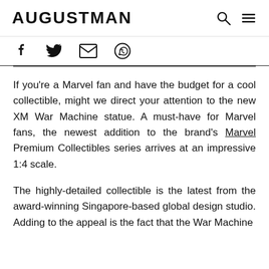AUGUSTMAN
[Figure (infographic): Social share icons: Facebook, Twitter, Email, WhatsApp]
If you’re a Marvel fan and have the budget for a cool collectible, might we direct your attention to the new XM War Machine statue. A must-have for Marvel fans, the newest addition to the brand’s Marvel Premium Collectibles series arrives at an impressive 1:4 scale.
The highly-detailed collectible is the latest from the award-winning Singapore-based global design studio. Adding to the appeal is the fact that the War Machine